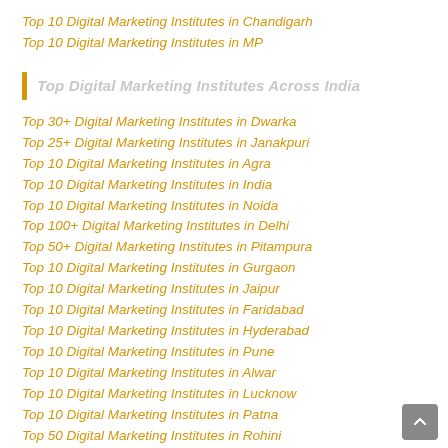Top 10 Digital Marketing Institutes in Chandigarh
Top 10 Digital Marketing Institutes in MP
Top Digital Marketing Institutes Across India
Top 30+ Digital Marketing Institutes in Dwarka
Top 25+ Digital Marketing Institutes in Janakpuri
Top 10 Digital Marketing Institutes in Agra
Top 10 Digital Marketing Institutes in India
Top 10 Digital Marketing Institutes in Noida
Top 100+ Digital Marketing Institutes in Delhi
Top 50+ Digital Marketing Institutes in Pitampura
Top 10 Digital Marketing Institutes in Gurgaon
Top 10 Digital Marketing Institutes in Jaipur
Top 10 Digital Marketing Institutes in Faridabad
Top 10 Digital Marketing Institutes in Hyderabad
Top 10 Digital Marketing Institutes in Pune
Top 10 Digital Marketing Institutes in Alwar
Top 10 Digital Marketing Institutes in Lucknow
Top 10 Digital Marketing Institutes in Patna
Top 50 Digital Marketing Institutes in Rohini